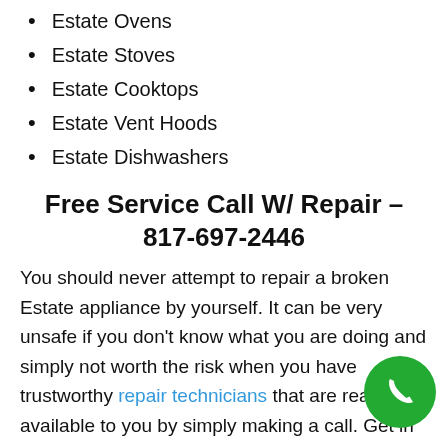Estate Ovens
Estate Stoves
Estate Cooktops
Estate Vent Hoods
Estate Dishwashers
Free Service Call W/ Repair – 817-697-2446
You should never attempt to repair a broken Estate appliance by yourself. It can be very unsafe if you don't know what you are doing and simply not worth the risk when you have trustworthy repair technicians that are readily available to you by simply making a call. Get in touch with the specialists at Same Day Appliance Repair DFW now and we can set up a service call at a time that is convenient for you.
[Figure (illustration): Green circular phone call button in bottom right corner]